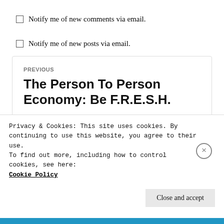Notify me of new comments via email.
Notify me of new posts via email.
PREVIOUS
The Person To Person Economy: Be F.R.E.S.H.
Privacy & Cookies: This site uses cookies. By continuing to use this website, you agree to their use.
To find out more, including how to control cookies, see here: Cookie Policy
Close and accept